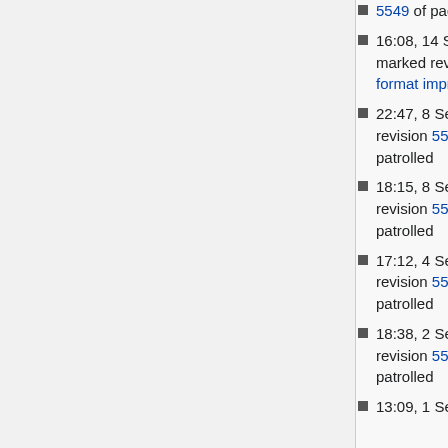5549 of page Projects/Reporting-friendly KDB dump format patrolled
16:08, 14 September 2015 TomYu (talk | contribs) automatically marked revision 5548 of page Projects/Reporting-friendly KDB dump format improvements patrolled
22:47, 8 September 2015 TomYu (talk | contribs) automatically marked revision 5545 of page Projects/Reporting-friendly KDB dump format patrolled
18:15, 8 September 2015 TomYu (talk | contribs) automatically marked revision 5544 of page Projects/Reporting-friendly KDB dump format patrolled
17:12, 4 September 2015 TomYu (talk | contribs) automatically marked revision 5543 of page Projects/Reporting-friendly KDB dump format patrolled
18:38, 2 September 2015 TomYu (talk | contribs) automatically marked revision 5517 of page Projects/Reporting-friendly KDB dump format patrolled
13:09, 1 September 2015 TomYu (talk |